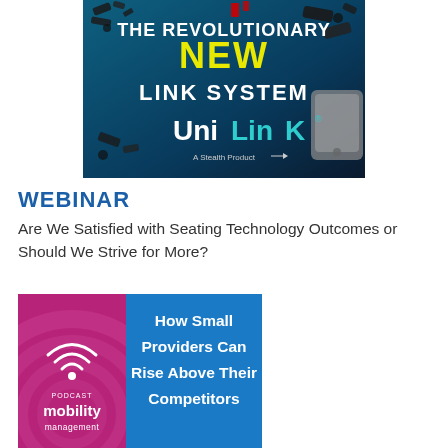[Figure (illustration): UniLink advertisement banner showing mechanical link hardware components floating on a teal/dark background with text 'THE REVOLUTIONARY NEW LINK SYSTEM' and 'UniLink - A Stealth Product' logo]
WEBINAR
Are We Satisfied with Seating Technology Outcomes or Should We Strive for More?
[Figure (illustration): Podcast Mobility Management banner showing magenta podcast logo on the left and blue panel on the right with text 'How Small Providers Can Rise Above Their Competitors']